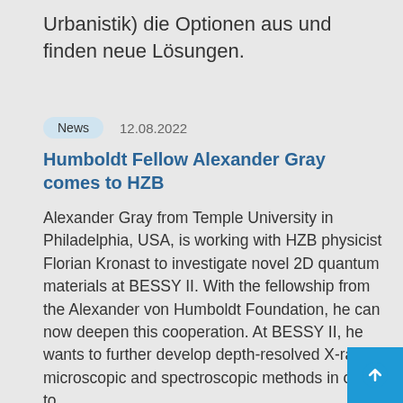Urbanistik) die Optionen aus und finden neue Lösungen.
Humboldt Fellow Alexander Gray comes to HZB
News   12.08.2022
Alexander Gray from Temple University in Philadelphia, USA, is working with HZB physicist Florian Kronast to investigate novel 2D quantum materials at BESSY II. With the fellowship from the Alexander von Humboldt Foundation, he can now deepen this cooperation. At BESSY II, he wants to further develop depth-resolved X-ray microscopic and spectroscopic methods in order to